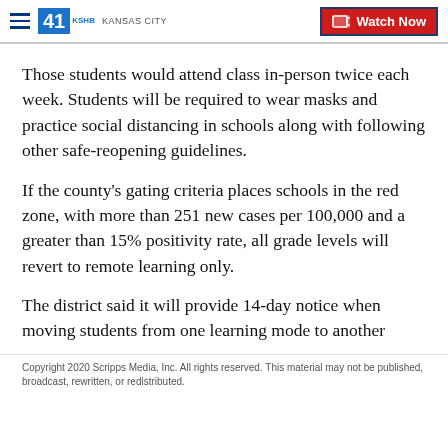41 KSHB KANSAS CITY | Watch Now
Those students would attend class in-person twice each week. Students will be required to wear masks and practice social distancing in schools along with following other safe-reopening guidelines.
If the county's gating criteria places schools in the red zone, with more than 251 new cases per 100,000 and a greater than 15% positivity rate, all grade levels will revert to remote learning only.
The district said it will provide 14-day notice when moving students from one learning mode to another
Copyright 2020 Scripps Media, Inc. All rights reserved. This material may not be published, broadcast, rewritten, or redistributed.